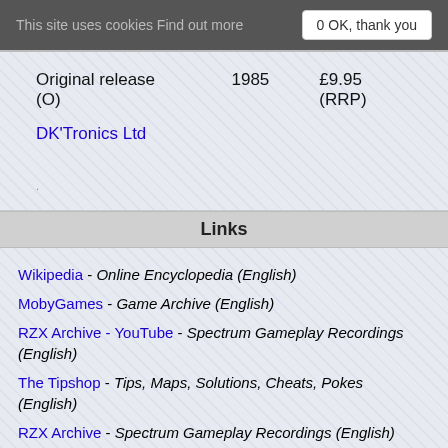This site uses cookies Find out more   0 OK, thank you
Original release (O)   1985   £9.95 (RRP)
DK'Tronics Ltd
Links
Wikipedia - Online Encyclopedia (English)
MobyGames - Game Archive (English)
RZX Archive - YouTube - Spectrum Gameplay Recordings (English)
The Tipshop - Tips, Maps, Solutions, Cheats, Pokes (English)
RZX Archive - Spectrum Gameplay Recordings (English)